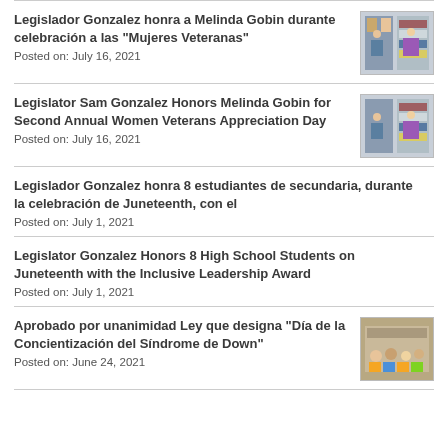Legislador Gonzalez honra a Melinda Gobin durante celebración a las "Mujeres Veteranas"
Posted on: July 16, 2021
Legislator Sam Gonzalez Honors Melinda Gobin for Second Annual Women Veterans Appreciation Day
Posted on: July 16, 2021
Legislador Gonzalez honra 8 estudiantes de secundaria, durante la celebración de Juneteenth, con el
Posted on: July 1, 2021
Legislator Gonzalez Honors 8 High School Students on Juneteenth with the Inclusive Leadership Award
Posted on: July 1, 2021
Aprobado por unanimidad Ley que designa "Día de la Concientización del Síndrome de Down"
Posted on: June 24, 2021